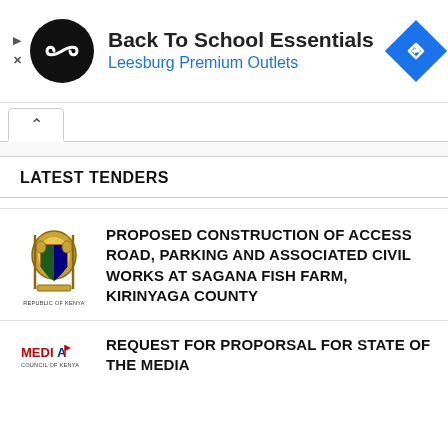[Figure (infographic): Advertisement banner: Back To School Essentials at Leesburg Premium Outlets, with circular logo icon and blue navigation diamond icon]
LATEST TENDERS
[Figure (logo): Republic of Kenya coat of arms logo]
PROPOSED CONSTRUCTION OF ACCESS ROAD, PARKING AND ASSOCIATED CIVIL WORKS AT SAGANA FISH FARM, KIRINYAGA COUNTY
[Figure (logo): Media Council of Kenya logo]
REQUEST FOR PROPORSAL FOR STATE OF THE MEDIA